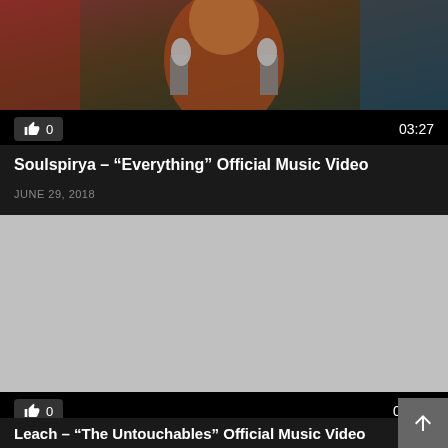[Figure (screenshot): Video thumbnail showing a performer in colorful costume singing into a microphone]
👍 0   03:27
Soulspirya – "Everything" Official Music Video
JUNE 29, 2018
[Figure (screenshot): Gray placeholder thumbnail for second video]
👍 0   02:49
Leach – "The Untouchables" Official Music Video
FEBRUARY 10, 2018